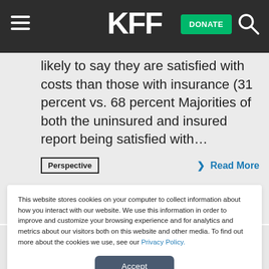KFF — DONATE
likely to say they are satisfied with costs than those with insurance (31 percent vs. 68 percent Majorities of both the uninsured and insured report being satisfied with…
Perspective   ❯ Read More
This website stores cookies on your computer to collect information about how you interact with our website. We use this information in order to improve and customize your browsing experience and for analytics and metrics about our visitors both on this website and other media. To find out more about the cookies we use, see our Privacy Policy.
Accept